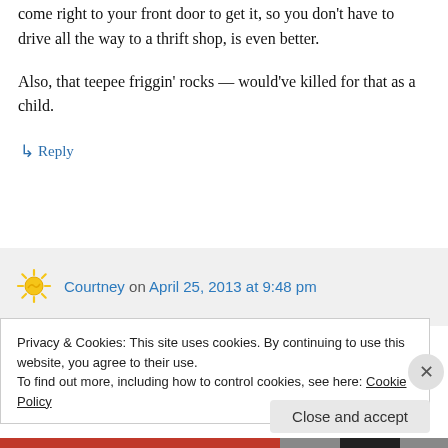come right to your front door to get it, so you don't have to drive all the way to a thrift shop, is even better.
Also, that teepee friggin' rocks — would've killed for that as a child.
↳ Reply
Courtney on April 25, 2013 at 9:48 pm
Privacy & Cookies: This site uses cookies. By continuing to use this website, you agree to their use.
To find out more, including how to control cookies, see here: Cookie Policy
Close and accept